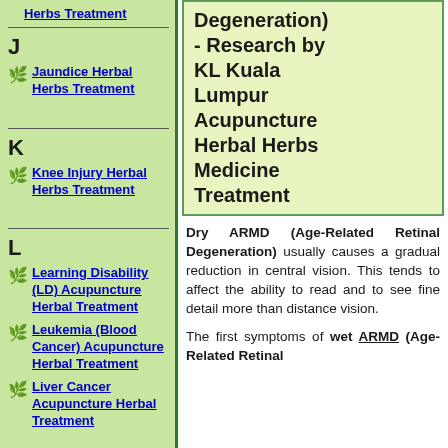Herbs Treatment
J
Jaundice Herbal Herbs Treatment
K
Knee Injury Herbal Herbs Treatment
L
Learning Disability (LD) Acupuncture Herbal Treatment
Leukemia (Blood Cancer) Acupuncture Herbal Treatment
Liver Cancer Acupuncture Herbal Treatment
Degeneration) - Research by KL Kuala Lumpur Acupuncture Herbal Herbs Medicine Treatment
Dry ARMD (Age-Related Retinal Degeneration) usually causes a gradual reduction in central vision. This tends to affect the ability to read and to see fine detail more than distance vision.
The first symptoms of wet ARMD (Age-Related Retinal